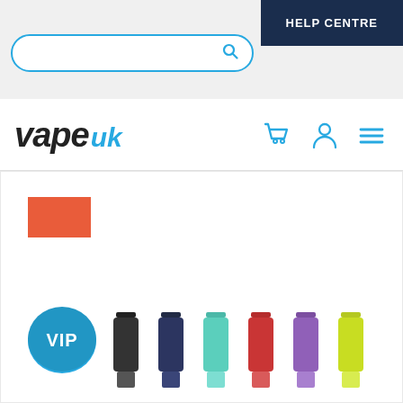[Figure (screenshot): Search bar with rounded border and blue search icon on grey background, with HELP CENTRE dark button top right]
[Figure (logo): Vape UK logo in black italic with UK in blue, navigation icons: shopping cart, person, menu on right]
[Figure (photo): Product listing page showing orange/red sale badge top left, VIP circular blue badge bottom left, and a row of coloured vape tank products in black, navy, teal, red, purple, yellow-green at bottom]